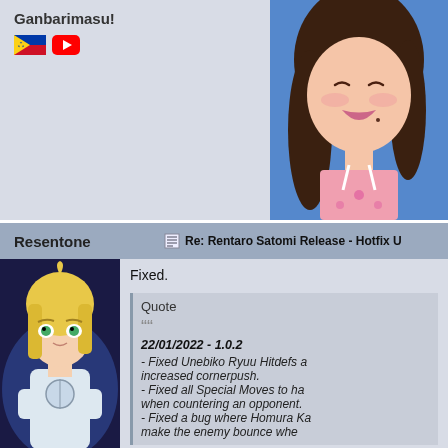Ganbarimasu!
[Figure (illustration): Philippine flag icon and YouTube icon]
[Figure (illustration): Anime girl with brown hair, smiling with eyes closed, wearing a pink top, blue background]
Resentone   Re: Rentaro Satomi Release - Hotfix U
Fixed.
Quote
22/01/2022 - 1.0.2
- Fixed Unebiko Ryuu Hitdefs a... increased cornerpush.
- Fixed all Special Moves to ha... when countering an opponent.
- Fixed a bug where Homura Ka... make the enemy bounce whe...
[Figure (illustration): Anime character Saber from Fate series, blonde hair, green eyes, wearing white armor]